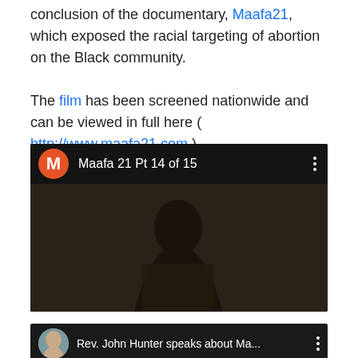conclusion of the documentary, Maafa21, which exposed the racial targeting of abortion on the Black community.
The film has been screened nationwide and can be viewed in full here ( http://www.maafa21.com.)
[Figure (screenshot): YouTube video embed showing 'Maafa 21 Pt 14 of 15' with a dark thumbnail of a person at a podium and a play button in the center.]
[Figure (screenshot): YouTube video embed showing 'Rev. John Hunter speaks about Ma...' with a thumbnail of a person.]